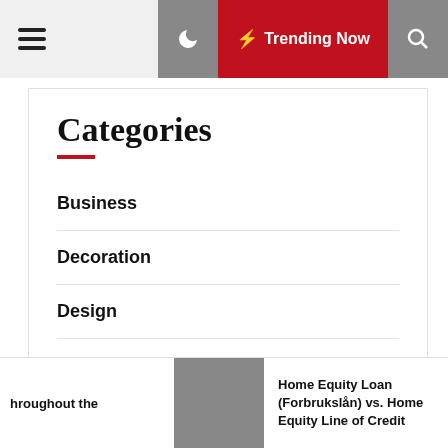≡  ☽  ⚡ Trending Now  🔍
Categories
Business
Decoration
Design
Exterior
Family Room
General Article
hroughout the  [thumbnail]  Home Equity Loan (Forbrukslån) vs. Home Equity Line of Credit